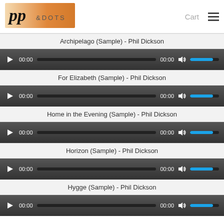[Figure (logo): PP & DOTS logo with italic bold PP text and dotted &DOTS text on an orange gradient background]
Archipelago (Sample) - Phil Dickson
[Figure (other): Audio player bar with play button, 00:00 time, seek bar, 00:00 duration, volume icon, and blue volume slider]
For Elizabeth (Sample) - Phil Dickson
[Figure (other): Audio player bar with play button, 00:00 time, seek bar, 00:00 duration, volume icon, and blue volume slider]
Home in the Evening (Sample) - Phil Dickson
[Figure (other): Audio player bar with play button, 00:00 time, seek bar, 00:00 duration, volume icon, and blue volume slider]
Horizon (Sample) - Phil Dickson
[Figure (other): Audio player bar with play button, 00:00 time, seek bar, 00:00 duration, volume icon, and blue volume slider]
Hygge (Sample) - Phil Dickson
[Figure (other): Audio player bar with play button, 00:00 time, seek bar, 00:00 duration, volume icon, and blue volume slider]